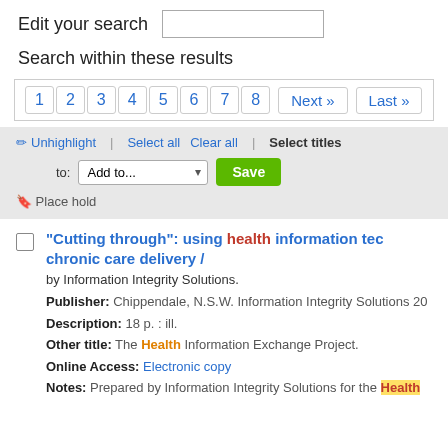Edit your search
Search within these results
1  2  3  4  5  6  7  8  Next »  Last »
✏ Unhighlight | Select all  Clear all | Select titles to: Add to... Save
🔖 Place hold
"Cutting through": using health information tec... chronic care delivery / by Information Integrity Solutions.
Publisher: Chippendale, N.S.W. Information Integrity Solutions 20...
Description: 18 p. : ill.
Other title: The Health Information Exchange Project.
Online Access: Electronic copy
Notes: Prepared by Information Integrity Solutions for the Health...